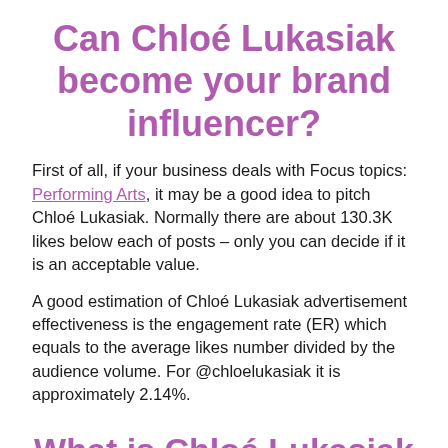Can Chloé Lukasiak become your brand influencer?
First of all, if your business deals with Focus topics: Performing Arts, it may be a good idea to pitch Chloé Lukasiak. Normally there are about 130.3K likes below each of posts – only you can decide if it is an acceptable value.
A good estimation of Chloé Lukasiak advertisement effectiveness is the engagement rate (ER) which equals to the average likes number divided by the audience volume. For @chloelukasiak it is approximately 2.14%.
What is Chloé Lukasiak audience?